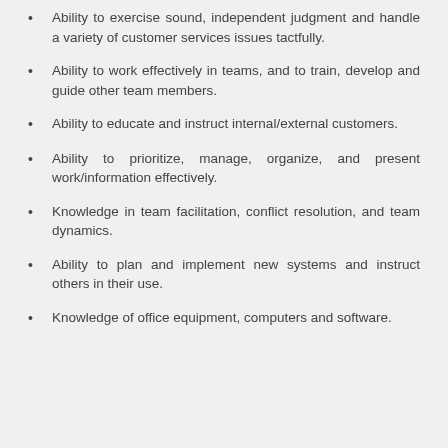Ability to exercise sound, independent judgment and handle a variety of customer services issues tactfully.
Ability to work effectively in teams, and to train, develop and guide other team members.
Ability to educate and instruct internal/external customers.
Ability to prioritize, manage, organize, and present work/information effectively.
Knowledge in team facilitation, conflict resolution, and team dynamics.
Ability to plan and implement new systems and instruct others in their use.
Knowledge of office equipment, computers and software.